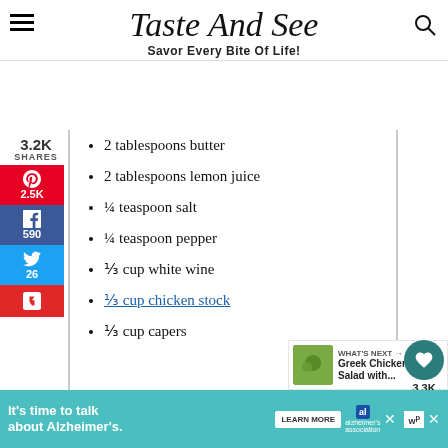Taste And See — Savor Every Bite Of Life!
2 tablespoons butter
2 tablespoons lemon juice
¼ teaspoon salt
¼ teaspoon pepper
⅓ cup white wine
⅓ cup chicken stock
⅓ cup capers
WHAT'S NEXT → Greek Chicken Salad with...
It's time to talk about Alzheimer's.